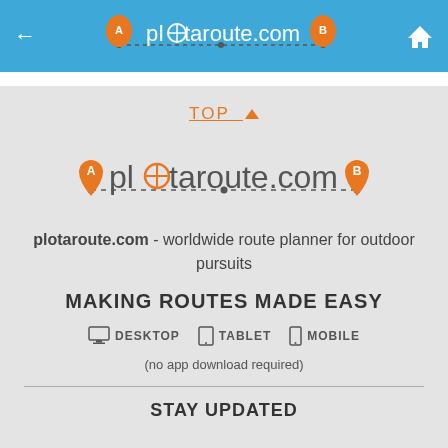[Figure (logo): plotaroute.com header bar with navigation arrows and home icon on blue background]
TOP ▲
[Figure (logo): plotaroute.com logo with orange map pin markers A and B connected by a dotted line]
plotaroute.com - worldwide route planner for outdoor pursuits
MAKING ROUTES MADE EASY
🖥 DESKTOP   📱 TABLET   📱 MOBILE
(no app download required)
STAY UPDATED